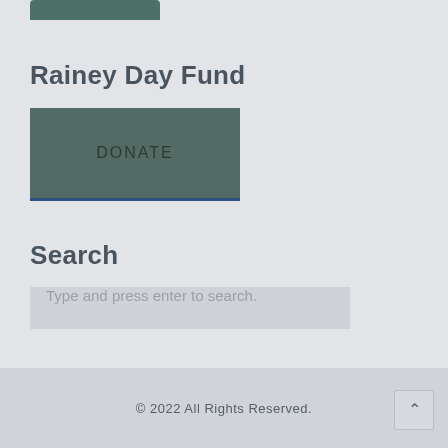[Figure (screenshot): Partial view of a green donate button at the top of the page]
Rainey Day Fund
[Figure (screenshot): Green DONATE button with blue bottom border]
Search
Type and press enter to search.
© 2022 All Rights Reserved.